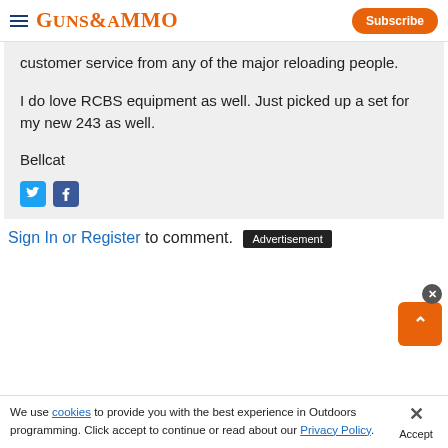GUNS&AMMO | Subscribe
customer service from any of the major reloading people.

I do love RCBS equipment as well. Just picked up a set for my new 243 as well.

Bellcat
Sign In or Register to comment.
We use cookies to provide you with the best experience in Outdoors programming. Click accept to continue or read about our Privacy Policy.